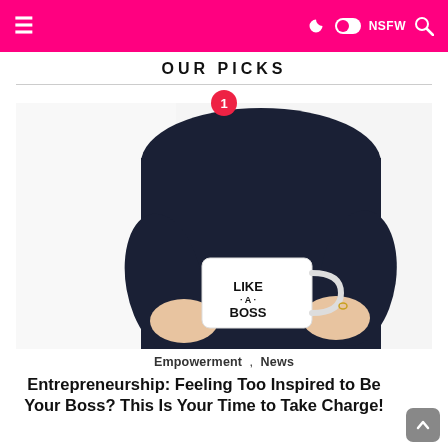OUR PICKS
[Figure (photo): Woman in black long-sleeve top holding a white mug that reads 'LIKE A BOSS' in bold black lettering, photographed from the neck down against a white background. A pink circular badge with the number 1 overlays the top of the image.]
Empowerment , News
Entrepreneurship: Feeling Too Inspired to Be Your Boss? This Is Your Time to Take Charge!